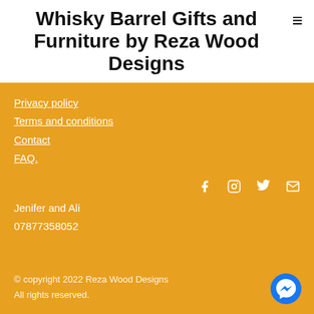Whisky Barrel Gifts and Furniture by Reza Wood Designs
Privacy policy
Terms and conditions
Contact
FAQ.
Jenifer and Ali
07877358052
© copyright 2022 Reza Wood Designs
All rights reserved.